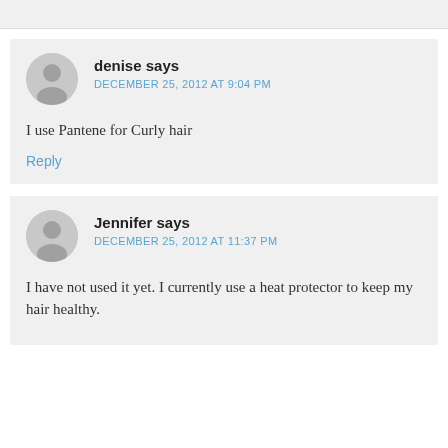denise says
DECEMBER 25, 2012 AT 9:04 PM
I use Pantene for Curly hair
Reply
Jennifer says
DECEMBER 25, 2012 AT 11:37 PM
I have not used it yet. I currently use a heat protector to keep my hair healthy.
Reply